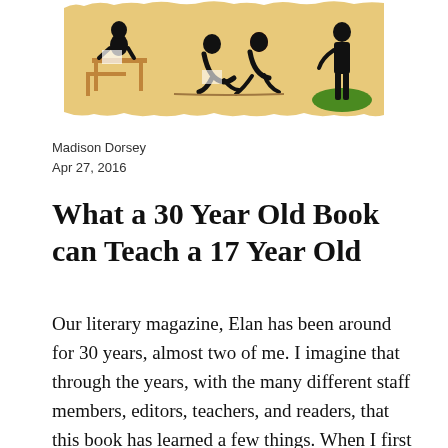[Figure (illustration): A horizontal illustrated banner on a tan/yellow background showing silhouetted figures in black: a person sitting at a desk writing, two people sitting on the ground reading, and a standing figure on green grass.]
Madison Dorsey
Apr 27, 2016
What a 30 Year Old Book can Teach a 17 Year Old
Our literary magazine, Elan has been around for 30 years, almost two of me. I imagine that through the years, with the many different staff members, editors, teachers, and readers, that this book has learned a few things. When I first came on staff and took on the position of Junior Poetry Editor, I went back through some of the older editions of Elan and tried to figure out how the editors before me picked the